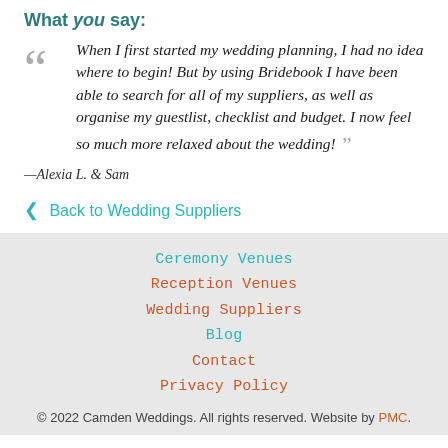What you say:
When I first started my wedding planning, I had no idea where to begin! But by using Bridebook I have been able to search for all of my suppliers, as well as organise my guestlist, checklist and budget. I now feel so much more relaxed about the wedding!
—Alexia L. & Sam
< Back to Wedding Suppliers
Ceremony Venues
Reception Venues
Wedding Suppliers
Blog
Contact
Privacy Policy
© 2022 Camden Weddings. All rights reserved. Website by PMC.